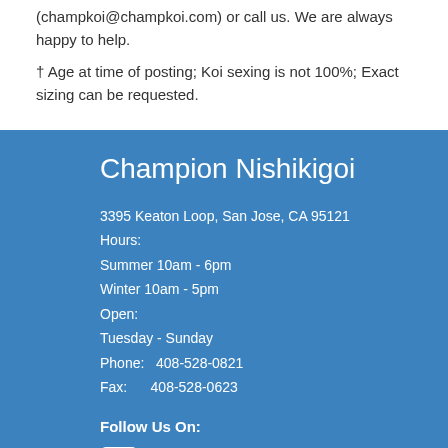(champkoi@champkoi.com) or call us. We are always happy to help.
† Age at time of posting; Koi sexing is not 100%; Exact sizing can be requested.
Champion Nishikigoi
3395 Keaton Loop, San Jose, CA 95121
Hours:
Summer 10am - 6pm
Winter 10am - 5pm
Open:
Tuesday - Sunday
Phone:   408-528-0821
Fax:       408-528-0623
Follow Us On:
@championnishikigoi
@championnishikigoi (Instagram)